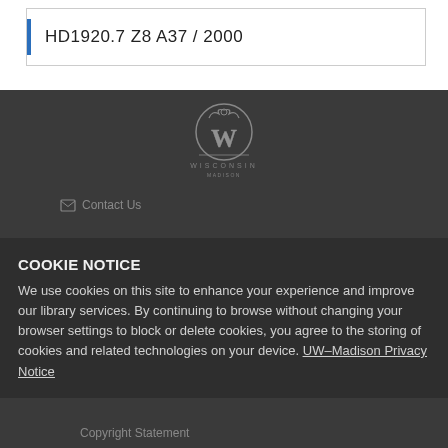HD1920.7 Z8 A37 / 2000
[Figure (logo): University of Wisconsin–Madison crest/logo in light outline form on dark background]
COOKIE NOTICE
We use cookies on this site to enhance your experience and improve our library services. By continuing to browse without changing your browser settings to block or delete cookies, you agree to the storing of cookies and related technologies on your device. UW–Madison Privacy Notice
Copyright Statement
Policies
GOT IT!
Contact Us